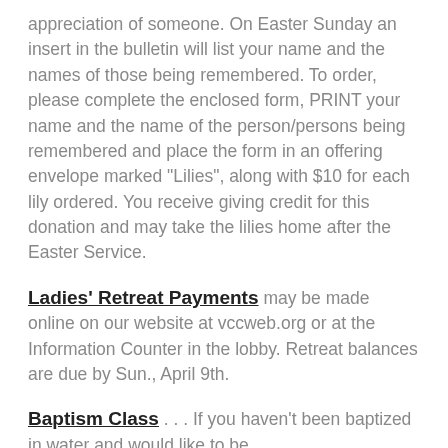appreciation of someone. On Easter Sunday an insert in the bulletin will list your name and the names of those being remembered. To order, please complete the enclosed form, PRINT your name and the name of the person/persons being remembered and place the form in an offering envelope marked "Lilies", along with $10 for each lily ordered. You receive giving credit for this donation and may take the lilies home after the Easter Service.
Ladies' Retreat Payments may be made online on our website at vccweb.org or at the Information Counter in the lobby. Retreat balances are due by Sun., April 9th.
Baptism Class . . . If you haven't been baptized in water and would like to be, please inquire at the Information Counter.